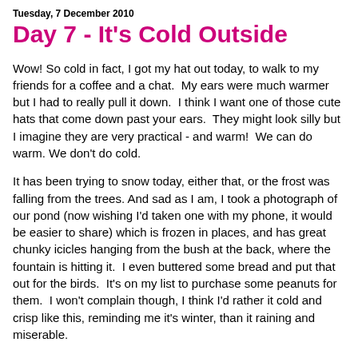Tuesday, 7 December 2010
Day 7 - It's Cold Outside
Wow! So cold in fact, I got my hat out today, to walk to my friends for a coffee and a chat.  My ears were much warmer but I had to really pull it down.  I think I want one of those cute hats that come down past your ears.  They might look silly but I imagine they are very practical - and warm!  We can do warm. We don't do cold.
It has been trying to snow today, either that, or the frost was falling from the trees. And sad as I am, I took a photograph of our pond (now wishing I'd taken one with my phone, it would be easier to share) which is frozen in places, and has great chunky icicles hanging from the bush at the back, where the fountain is hitting it.  I even buttered some bread and put that out for the birds.  It's on my list to purchase some peanuts for them.  I won't complain though, I think I'd rather it cold and crisp like this, reminding me it's winter, than it raining and miserable.
This week seems to be filling up with stuff to do and I'm